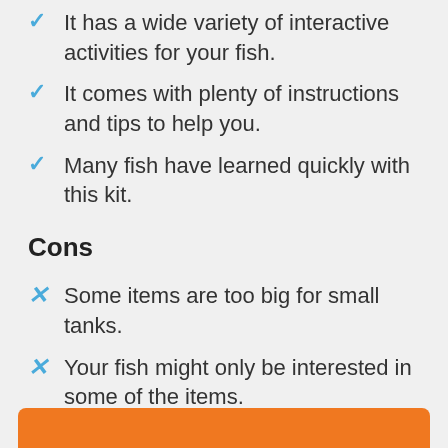It has a wide variety of interactive activities for your fish.
It comes with plenty of instructions and tips to help you.
Many fish have learned quickly with this kit.
Cons
Some items are too big for small tanks.
Your fish might only be interested in some of the items.